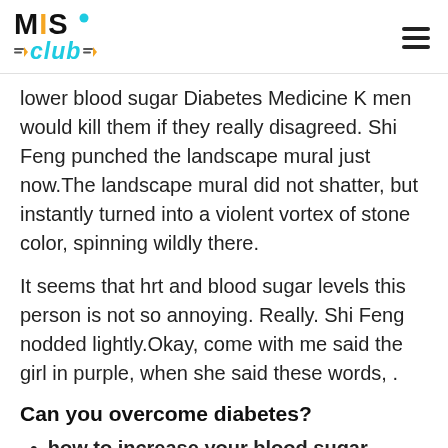MIS Club
lower blood sugar Diabetes Medicine K men would kill them if they really disagreed. Shi Feng punched the landscape mural just now.The landscape mural did not shatter, but instantly turned into a violent vortex of stone color, spinning wildly there.
It seems that hrt and blood sugar levels this person is not so annoying. Really. Shi Feng nodded lightly.Okay, come with me said the girl in purple, when she said these words, .
Can you overcome diabetes?
how to increase your blood sugar level:Shi Feng grinned and smiled bitterly.However, now that she has become stronger, it is a good thing